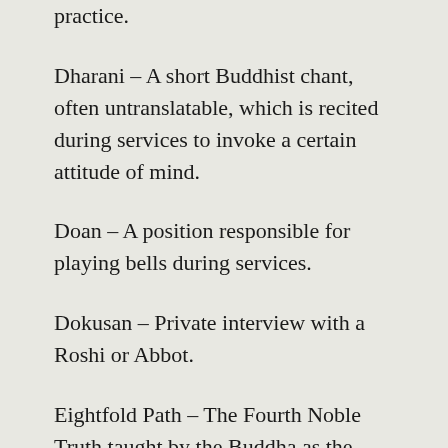practice.
Dharani – A short Buddhist chant, often untranslatable, which is recited during services to invoke a certain attitude of mind.
Doan – A position responsible for playing bells during services.
Dokusan – Private interview with a Roshi or Abbot.
Eightfold Path – The Fourth Noble Truth taught by the Buddha as the way to end suffering. The Eightfold Path consists of right view, thought, speech, action, livelihood, effort, mindfulness, and